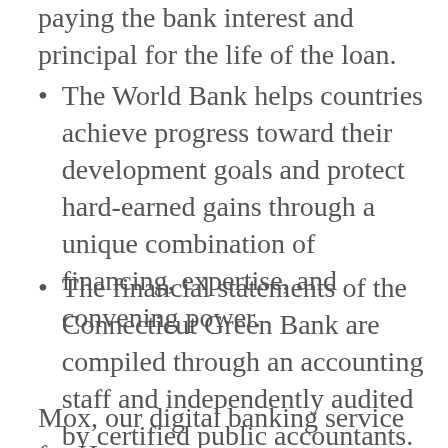paying the bank interest and principal for the life of the loan.
The World Bank helps countries achieve progress toward their development goals and protect hard-earned gains through a unique combination of financing, expertise, and convening power.
The financial statements of the Connecticut Green Bank are compiled through an accounting staff and independently audited by certified public accountants.
Mox, our digital banking service for Hong Kong, has been one of our fastest-growing businesses since its launch in 2021.